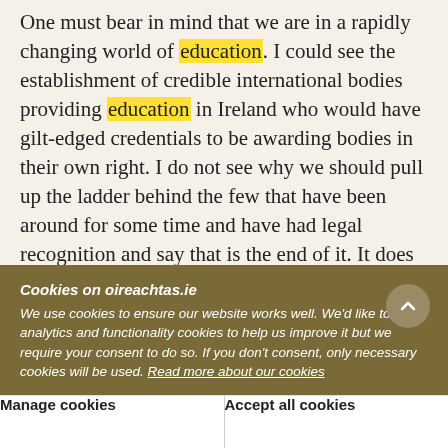One must bear in mind that we are in a rapidly changing world of education. I could see the establishment of credible international bodies providing education in Ireland who would have gilt-edged credentials to be awarding bodies in their own right. I do not see why we should pull up the ladder behind the few that have been around for some time and have had legal recognition and say that is the end of it. It does not seem to make sense
Cookies on oireachtas.ie
We use cookies to ensure our website works well. We'd like to use analytics and functionality cookies to help us improve it but we require your consent to do so. If you don't consent, only necessary cookies will be used. Read more about our cookies
Manage cookies
Accept all cookies